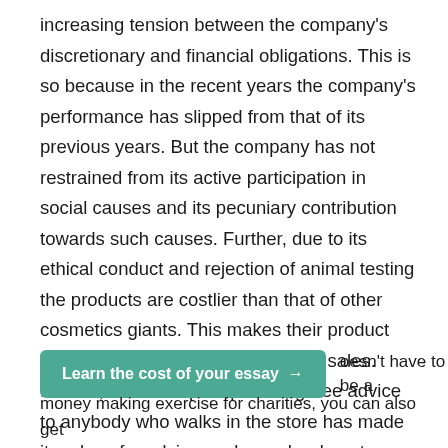increasing tension between the company's discretionary and financial obligations. This is so because in the recent years the company's performance has slipped from that of its previous years. But the company has not restrained from its active participation in social causes and its pecuniary contribution towards such causes. Further, due to its ethical conduct and rejection of animal testing the products are costlier than that of other cosmetics giants. This makes their product dearer in the market, which affects sales. Further, the concept of providing free advice to anybody who walks in the store has made it a place for advice seekers who do not intend to buy the product. Such things have affected the company's sales and profits which restricts their economic obligations.
Learn the cost of your essay → oesn't have to be a money making exercise for charities, you can also get